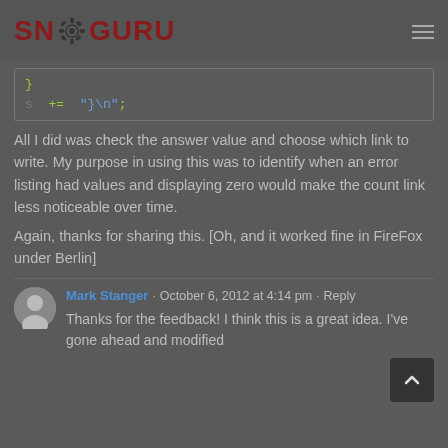SNGURU
[Figure (screenshot): Code snippet showing: } on first line, s += "}\n"; on second line]
All I did was check the answer value and choose which link to write. My purpose in using this was to identify when an error listing had values and displaying zero would make the count link less noticeable over time.
Again, thanks for sharing this. [Oh, and it worked fine in FireFox under Berlin]
Mark Stanger · October 6, 2012 at 4:14 pm · Reply
Thanks for the feedback! I think this is a great idea. I've gone ahead and modified